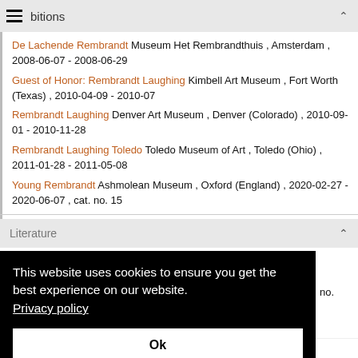bitions
De Lachende Rembrandt Museum Het Rembrandthuis , Amsterdam , 2008-06-07 - 2008-06-29
Guest of Honor: Rembrandt Laughing Kimbell Art Museum , Fort Worth (Texas) , 2010-04-09 - 2010-07
Rembrandt Laughing Denver Art Museum , Denver (Colorado) , 2010-09-01 - 2010-11-28
Rembrandt Laughing Toledo Toledo Museum of Art , Toledo (Ohio) , 2011-01-28 - 2011-05-08
Young Rembrandt Ashmolean Museum , Oxford (England) , 2020-02-27 - 2020-06-07 , cat. no. 15
Literature
This website uses cookies to ensure you get the best experience on our website. Privacy policy
Ok
no.
Corpus of Rembrandt Paintings 1982-2015 , vol. 5 (2011), p. 156-